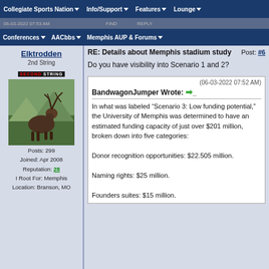Collegiate Sports Nation | Info/Support | Features | Lounge
Conferences | AACbbs | Memphis AUP & Forums
Elktrodden
2nd String
Posts: 299
Joined: Apr 2008
Reputation: 28
I Root For: Memphis
Location: Branson, MO
RE: Details about Memphis stadium study    Post: #6
Do you have visibility into Scenario 1 and 2?
(06-03-2022 07:52 AM)
BandwagonJumper Wrote: ➡_
In what was labeled “Scenario 3: Low funding potential,” the University of Memphis was determined to have an estimated funding capacity of just over $201 million, broken down into five categories:

Donor recognition opportunities: $22.505 million.

Naming rights: $25 million.

Founders suites: $15 million.